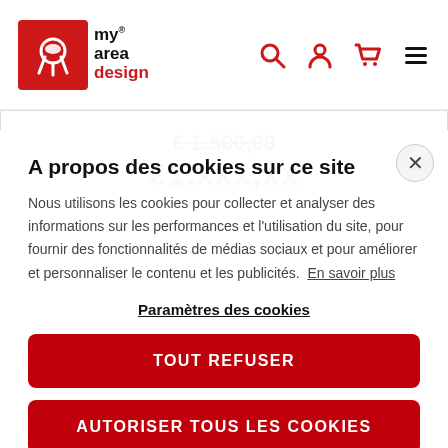[Figure (logo): My Area Design logo — red square with furniture icon, text 'my area design']
[Figure (screenshot): Price display: strikethrough €1,500,00 and red €1,xxx,xx below]
A propos des cookies sur ce site
Nous utilisons les cookies pour collecter et analyser des informations sur les performances et l'utilisation du site, pour fournir des fonctionnalités de médias sociaux et pour améliorer et personnaliser le contenu et les publicités. En savoir plus
Paramètres des cookies
TOUT REFUSER
AUTORISER TOUS LES COOKIES